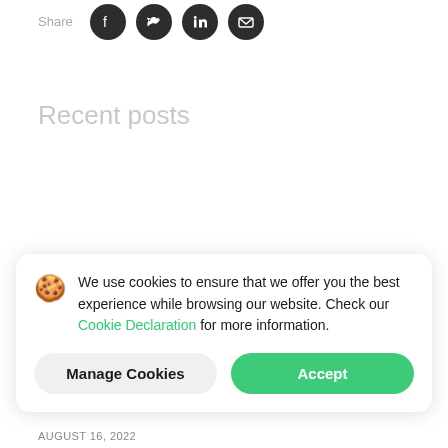Share
[Figure (infographic): Social share icons: Facebook, Twitter, LinkedIn, Email — dark circular buttons]
Recent posts
We use cookies to ensure that we offer you the best experience while browsing our website. Check our Cookie Declaration for more information.
Manage Cookies  Accept
AUGUST 16, 2022